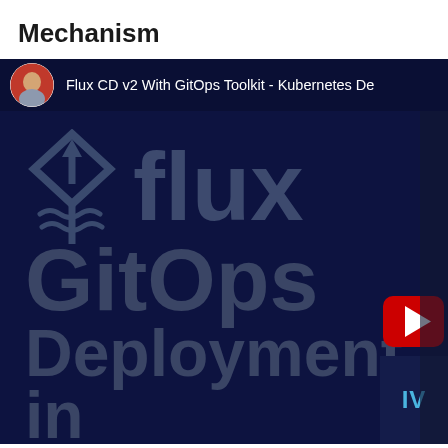Mechanism
[Figure (screenshot): YouTube video thumbnail/screenshot showing Flux CD v2 With GitOps Toolkit - Kubernetes Deployment video. Dark navy blue background with the Flux logo (diamond with arrow), large text reading 'flux', 'GitOps', 'Deployment', 'in'. Channel avatar shown in top-left with channel title text.]